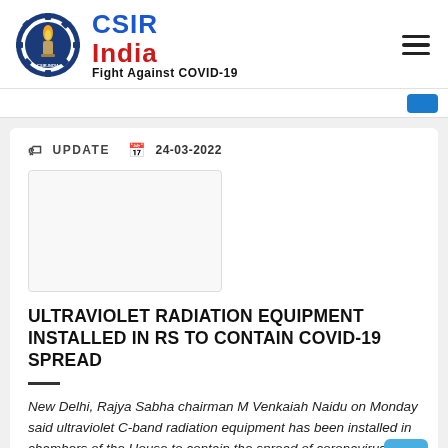CSIR India — Fight Against COVID-19
UPDATE   24-03-2022
[Figure (photo): Thumbnail image placeholder for the article]
ULTRAVIOLET RADIATION EQUIPMENT INSTALLED IN RS TO CONTAIN COVID-19 SPREAD
New Delhi, Rajya Sabha chairman M Venkaiah Naidu on Monday said ultraviolet C-band radiation equipment has been installed in chambers of the House to contain the spread of coronavirus. See more